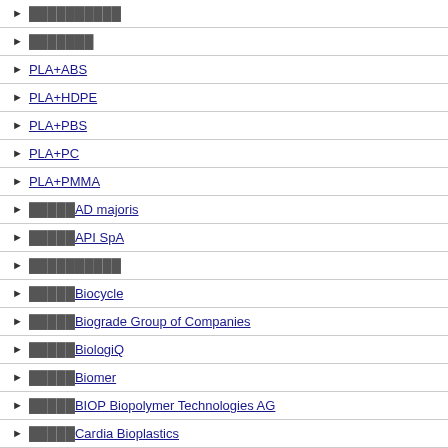██████████
███████
PLA+ABS
PLA+HDPE
PLA+PBS
PLA+PC
PLA+PMMA
█████AD majoris
█████API SpA
██████████
█████Biocycle
█████Biograde Group of Companies
█████BiologiQ
█████Biomer
█████BIOP Biopolymer Technologies AG
█████Cardia Bioplastics